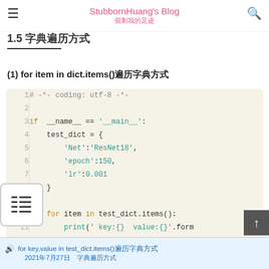StubbornHuang's Blog 倔刺我的足迹
1.5 字典遍历方式
(1) for item in dict.items()遍历字典方式
[Figure (screenshot): Python code block with line numbers showing dictionary iteration example. Lines 1-11 showing code with # -*- coding: utf-8 -*-, if __name__ == '__main__': block with test_dict definition and for item in test_dict.items(): loop.]
for key,value in test_dict.items()遍历字典方式 　2021年7月27日 字典遍历方式1000